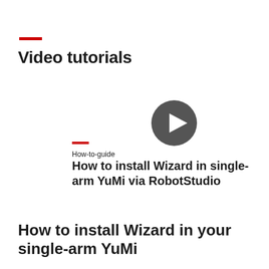Video tutorials
[Figure (screenshot): Video thumbnail with a dark gray circular play button icon centered on a white/light background]
How-to-guide
How to install Wizard in single-arm YuMi via RobotStudio
How to install Wizard in your single-arm YuMi